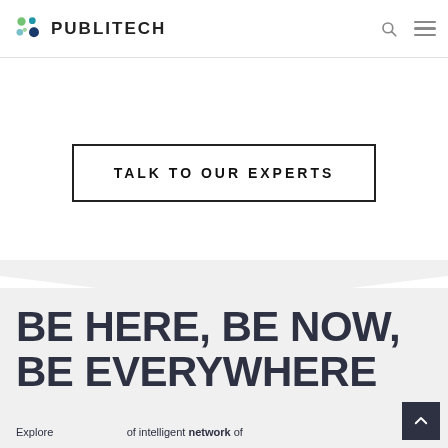PUBLITECH
TALK TO OUR EXPERTS
BE HERE, BE NOW, BE EVERYWHERE
Explore an intelligent network of